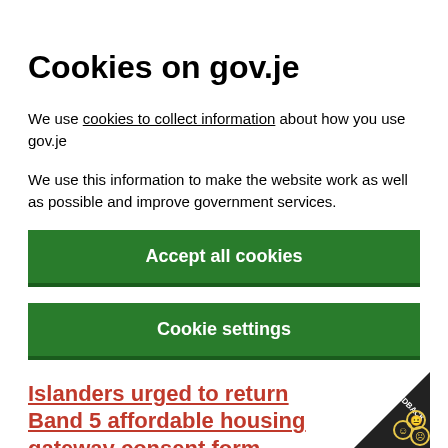Cookies on gov.je
We use cookies to collect information about how you use gov.je
We use this information to make the website work as well as possible and improve government services.
Accept all cookies
Cookie settings
Islanders urged to return Band 5 affordable housing gateway consent form
Date   22 September 2021